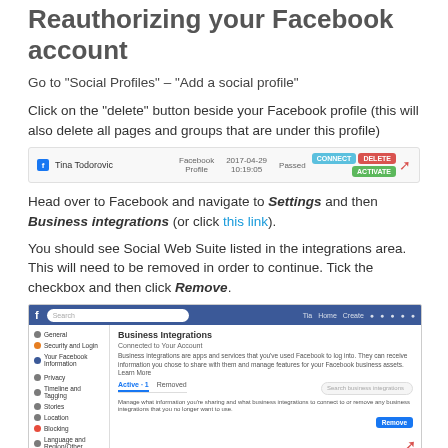Reauthorizing your Facebook account
Go to “Social Profiles” – “Add a social profile”
Click on the “delete” button beside your Facebook profile (this will also delete all pages and groups that are under this profile)
[Figure (screenshot): Screenshot of a Facebook profile row showing name 'Tina Todorovic', type 'Facebook Profile', date '2017-04-29 10:19:05', status 'Passed', with CONNECT, DELETE, and ACTIVATE buttons and a red arrow pointing to DELETE]
Head over to Facebook and navigate to Settings and then Business integrations (or click this link).
You should see Social Web Suite listed in the integrations area. This will need to be removed in order to continue. Tick the checkbox and then click Remove.
[Figure (screenshot): Screenshot of Facebook Business Integrations settings page showing Active/Removed tabs, Social Web Suite listed, with a Remove button and red arrow pointing to it]